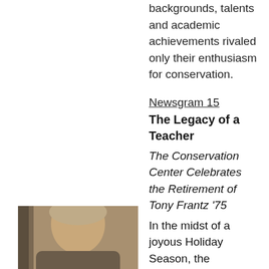backgrounds, talents and academic achievements rivaled only their enthusiasm for conservation.
Newsgram 15
The Legacy of a Teacher
The Conservation Center Celebrates the Retirement of Tony Frantz '75
In the midst of a joyous Holiday Season, the
[Figure (photo): Partial photo of a person, cropped at bottom left of page]